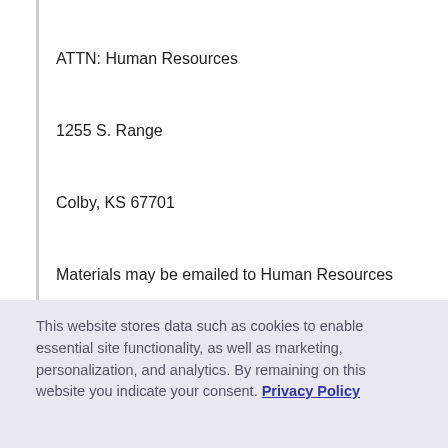ATTN: Human Resources
1255 S. Range
Colby, KS 67701
Materials may be emailed to Human Resources
Additional InformationColby Community College provides equality of opportunity to its applicants for admission, enrolled students,
This website stores data such as cookies to enable essential site functionality, as well as marketing, personalization, and analytics. By remaining on this website you indicate your consent. Privacy Policy